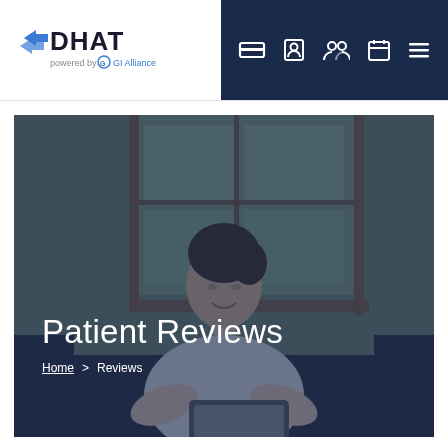[Figure (logo): DHAT logo powered by GI Alliance, with navigation icons on dark navy background]
[Figure (photo): Hero banner image showing a woman sitting on a sofa looking at a tablet, with a large window behind her, overlaid with dark blue tint and text 'Patient Reviews' with breadcrumb Home > Reviews]
Patient Feedback